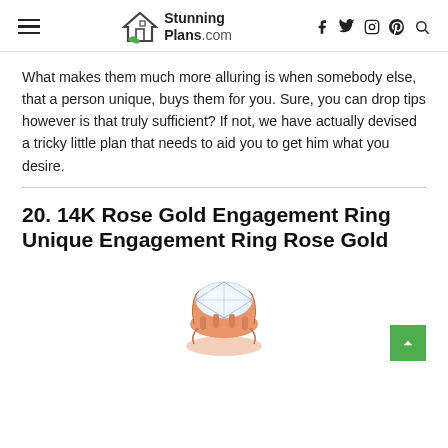StunningPlans.com — navigation header with hamburger menu, logo, and social/search icons
What makes them much more alluring is when somebody else, that a person unique, buys them for you. Sure, you can drop tips however is that truly sufficient? If not, we have actually devised a tricky little plan that needs to aid you to get him what you desire.
20. 14K Rose Gold Engagement Ring Unique Engagement Ring Rose Gold
[Figure (photo): A rose gold diamond engagement ring with ornate prong setting, shown from above, partially cropped at the bottom of the page.]